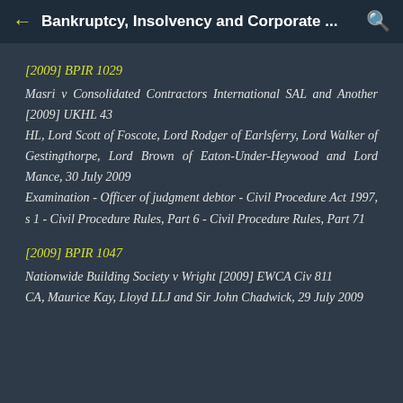Bankruptcy, Insolvency and Corporate ...
[2009] BPIR 1029
Masri v Consolidated Contractors International SAL and Another [2009] UKHL 43
HL, Lord Scott of Foscote, Lord Rodger of Earlsferry, Lord Walker of Gestingthorpe, Lord Brown of Eaton-Under-Heywood and Lord Mance, 30 July 2009
Examination - Officer of judgment debtor - Civil Procedure Act 1997, s 1 - Civil Procedure Rules, Part 6 - Civil Procedure Rules, Part 71
[2009] BPIR 1047
Nationwide Building Society v Wright [2009] EWCA Civ 811
CA, Maurice Kay, Lloyd LLJ and Sir John Chadwick, 29 July 2009